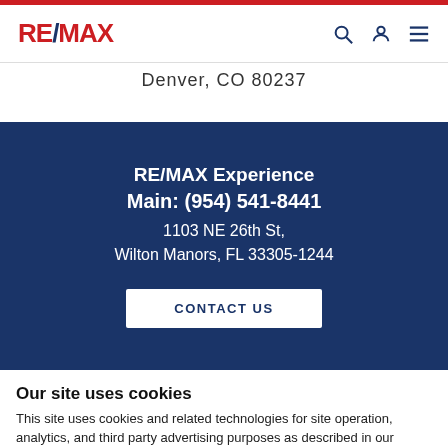RE/MAX
Denver, CO 80237
RE/MAX Experience
Main: (954) 541-8441
1103 NE 26th St,
Wilton Manors, FL 33305-1244
CONTACT US
Our site uses cookies
This site uses cookies and related technologies for site operation, analytics, and third party advertising purposes as described in our Privacy Notice .
ACCEPT